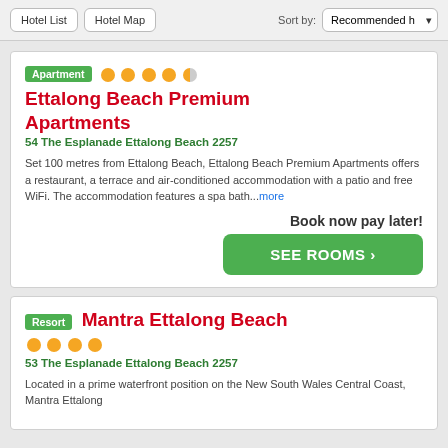Hotel List | Hotel Map | Sort by: Recommended
Apartment ●●●●◑ Ettalong Beach Premium Apartments
54 The Esplanade Ettalong Beach 2257
Set 100 metres from Ettalong Beach, Ettalong Beach Premium Apartments offers a restaurant, a terrace and air-conditioned accommodation with a patio and free WiFi. The accommodation features a spa bath...more
Book now pay later!
SEE ROOMS ›
Resort Mantra Ettalong Beach ●●●●
53 The Esplanade Ettalong Beach 2257
Located in a prime waterfront position on the New South Wales Central Coast, Mantra Ettalong